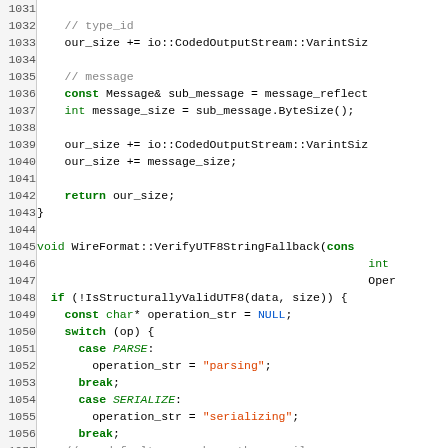[Figure (screenshot): Source code listing in C++ showing lines 1031-1061, including functions for ByteSize computation and WireFormat::VerifyUTF8StringFallback, with syntax highlighting: keywords in bold green, strings in red/orange, comments in gray, constants in blue.]